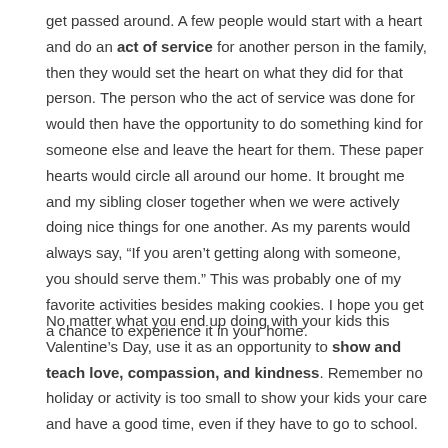get passed around. A few people would start with a heart and do an act of service for another person in the family, then they would set the heart on what they did for that person. The person who the act of service was done for would then have the opportunity to do something kind for someone else and leave the heart for them. These paper hearts would circle all around our home. It brought me and my sibling closer together when we were actively doing nice things for one another. As my parents would always say, “If you aren’t getting along with someone, you should serve them.” This was probably one of my favorite activities besides making cookies. I hope you get a chance to experience it in your home.
No matter what you end up doing with your kids this Valentine’s Day, use it as an opportunity to show and teach love, compassion, and kindness. Remember no holiday or activity is too small to show your kids your care and have a good time, even if they have to go to school.